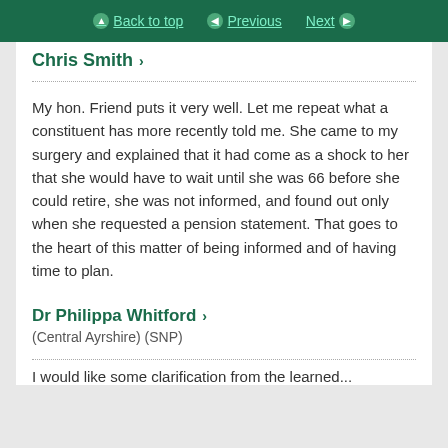Back to top  Previous  Next
Chris Smith ›
My hon. Friend puts it very well. Let me repeat what a constituent has more recently told me. She came to my surgery and explained that it had come as a shock to her that she would have to wait until she was 66 before she could retire, she was not informed, and found out only when she requested a pension statement. That goes to the heart of this matter of being informed and of having time to plan.
Dr Philippa Whitford › (Central Ayrshire) (SNP)
I would like some clarification from the learned...